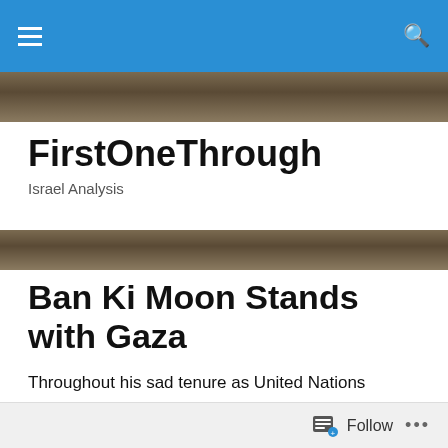FirstOneThrough — navigation bar with hamburger menu and search icon
FirstOneThrough
Israel Analysis
Ban Ki Moon Stands with Gaza
Throughout his sad tenure as United Nations Secretary General, Ban Ki Moon has refused to state that he stands with Israel in the face of ongoing terror.
The UNSG declared his support for countries that fell victim to terrorism, including Saudi Arabia, Turkey, France and Bangladesh. The UNSG...
Follow ...